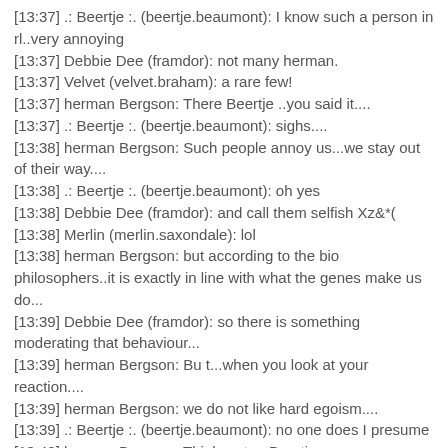[13:37] .: Beertje :. (beertje.beaumont): I know such a person in rl..very annoying
[13:37] Debbie Dee (framdor): not many herman.
[13:37] Velvet (velvet.braham): a rare few!
[13:37] herman Bergson: There Beertje ..you said it....
[13:37] .: Beertje :. (beertje.beaumont): sighs....
[13:38] herman Bergson: Such people annoy us...we stay out of their way....
[13:38] .: Beertje :. (beertje.beaumont): oh yes
[13:38] Debbie Dee (framdor): and call them selfish Xz&*(
[13:38] Merlin (merlin.saxondale): lol
[13:38] herman Bergson: but according to the bio philosophers..it is exactly in line with what the genes make us do...
[13:39] Debbie Dee (framdor): so there is something moderating that behaviour...
[13:39] herman Bergson: Bu t...when you look at your reaction....
[13:39] herman Bergson: we do not like hard egoism....
[13:39] .: Beertje :. (beertje.beaumont): no one does I presume
[13:40] herman Bergson: Think so too Beertje....